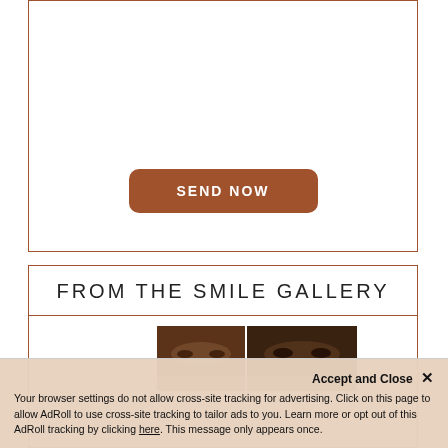[Figure (other): White box with brown border containing a Send Now button]
SEND NOW
FROM THE SMILE GALLERY
[Figure (photo): Two side-by-side facial photos showing close-up views of eyes and upper face of a person with dark skin]
Accept and Close ✕
Your browser settings do not allow cross-site tracking for advertising. Click on this page to allow AdRoll to use cross-site tracking to tailor ads to you. Learn more or opt out of this AdRoll tracking by clicking here. This message only appears once.